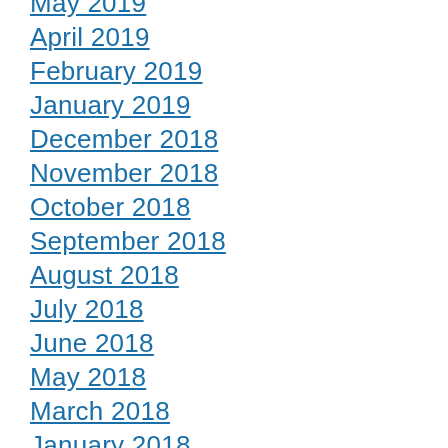May 2019
April 2019
February 2019
January 2019
December 2018
November 2018
October 2018
September 2018
August 2018
July 2018
June 2018
May 2018
March 2018
January 2018